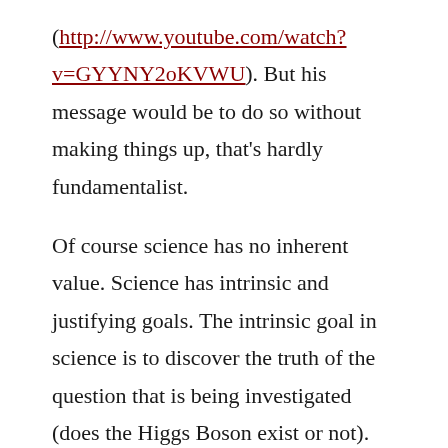(http://www.youtube.com/watch?v=GYYNY2oKVWU). But his message would be to do so without making things up, that's hardly fundamentalist.
Of course science has no inherent value. Science has intrinsic and justifying goals. The intrinsic goal in science is to discover the truth of the question that is being investigated (does the Higgs Boson exist or not). The justifying goal is what we believe to be the goal or purpose that justifies finding that truth. In the case of the Higgs Boson, the search is justified